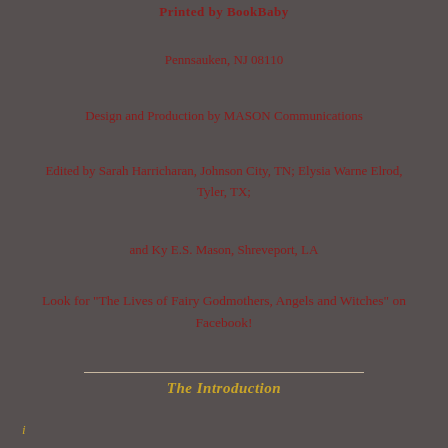Printed by BookBaby
Pennsauken, NJ 08110
Design and Production by MASON Communications
Edited by Sarah Harricharan, Johnson City, TN; Elysia Warne Elrod, Tyler, TX;
and Ky E.S. Mason, Shreveport, LA
Look for "The Lives of Fairy Godmothers, Angels and Witches" on Facebook!
The Introduction
i